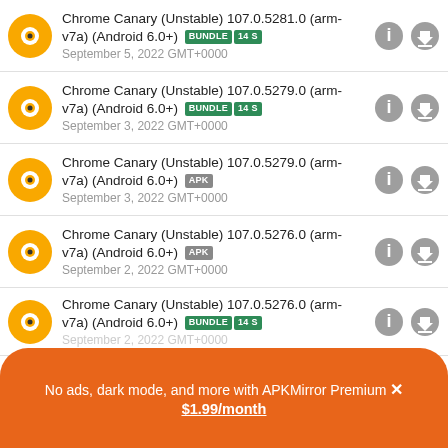Chrome Canary (Unstable) 107.0.5281.0 (arm-v7a) (Android 6.0+) BUNDLE 14 S
September 5, 2022 GMT+0000
Chrome Canary (Unstable) 107.0.5279.0 (arm-v7a) (Android 6.0+) BUNDLE 14 S
September 3, 2022 GMT+0000
Chrome Canary (Unstable) 107.0.5279.0 (arm-v7a) (Android 6.0+) APK
September 3, 2022 GMT+0000
Chrome Canary (Unstable) 107.0.5276.0 (arm-v7a) (Android 6.0+) APK
September 2, 2022 GMT+0000
Chrome Canary (Unstable) 107.0.5276.0 (arm-v7a) (Android 6.0+) BUNDLE 14 S
September 2, 2022 GMT+0000
No ads, dark mode, and more with APKMirror Premium ×
$1.99/month